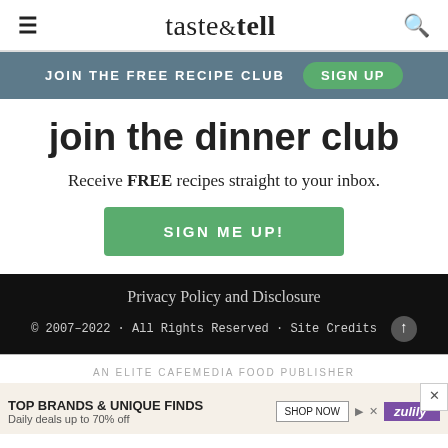taste & tell
JOIN THE FREE RECIPE CLUB   SIGN UP
join the dinner club
Receive FREE recipes straight to your inbox.
SIGN ME UP!
Privacy Policy and Disclosure
© 2007-2022 · All Rights Reserved · Site Credits
AN ELITE CAFEMEDIA FOOD PUBLISHER
TOP BRANDS & UNIQUE FINDS
Daily deals up to 70% off
SHOP NOW